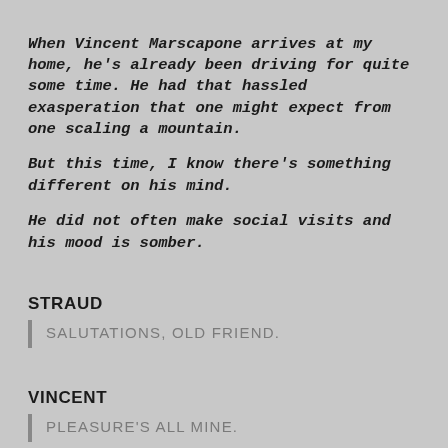When Vincent Marscapone arrives at my home, he's already been driving for quite some time. He had that hassled exasperation that one might expect from one scaling a mountain.
But this time, I know there's something different on his mind.
He did not often make social visits and his mood is somber.
STRAUD
SALUTATIONS, OLD FRIEND.
VINCENT
PLEASURE'S ALL MINE.